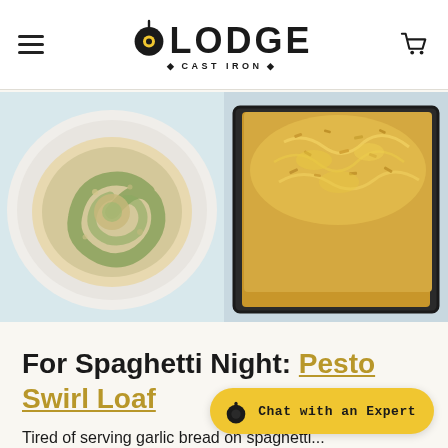Lodge Cast Iron — Navigation header with hamburger menu, Lodge Cast Iron logo, and shopping cart icon
[Figure (photo): Two food photos side by side: left shows a cross-section slice of pesto swirl loaf bread on a white plate viewed from above; right shows a golden cheesy bread loaf topped with seeds/cheese in a dark cast iron pan.]
For Spaghetti Night: Pesto Swirl Loaf
Tired of serving garlic bread on spaghetti...